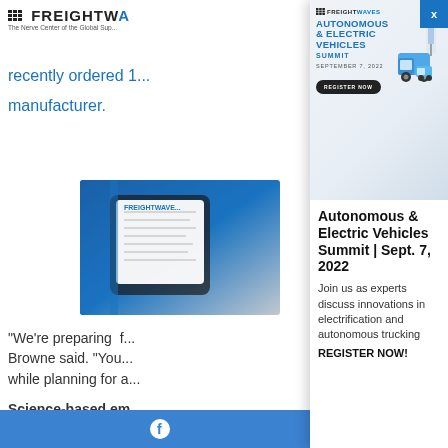FREIGHTWAVES - The Nerve Center of the Global Supply
recently ordered 1... manufacturer.
[Figure (photo): FreightWaves branded device/tablet showing data or document]
"We're preparing f... Browne said. "You... while planning for a..."
Science-based em...
Counsel touched o...
[Figure (illustration): FreightWaves Autonomous & Electric Vehicles Summit advertisement banner with truck illustration, date September 7, 2022, and Register Now button]
Autonomous & Electric Vehicles Summit | Sept. 7, 2022
Join us as experts discuss innovations in electrification and autonomous trucking
REGISTER NOW!
Facebook icon